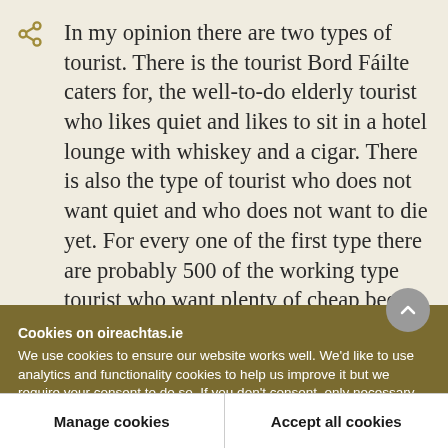In my opinion there are two types of tourist. There is the tourist Bord Fáilte caters for, the well-to-do elderly tourist who likes quiet and likes to sit in a hotel lounge with whiskey and a cigar. There is also the type of tourist who does not want quiet and who does not want to die yet. For every one of the first type there are probably 500 of the working type tourist who want plenty of cheap beer, cigarettes, a swim, a good laugh, and a sing-song.
Cookies on oireachtas.ie
We use cookies to ensure our website works well. We'd like to use analytics and functionality cookies to help us improve it but we require your consent to do so. If you don't consent, only necessary cookies will be used. Read more about our cookies
Manage cookies
Accept all cookies